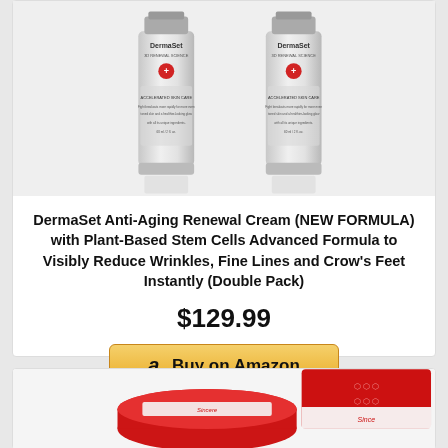[Figure (photo): Two DermaSet anti-aging cream tubes side by side on a light gray background]
DermaSet Anti-Aging Renewal Cream (NEW FORMULA) with Plant-Based Stem Cells Advanced Formula to Visibly Reduce Wrinkles, Fine Lines and Crow's Feet Instantly (Double Pack)
$129.99
[Figure (photo): Red skincare product jar and box, partially visible at bottom of page]